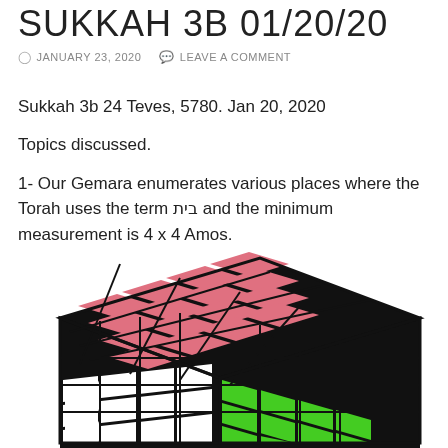SUKKAH 3B 01/20/20
JANUARY 23, 2020   LEAVE A COMMENT
Sukkah 3b 24 Teves, 5780. Jan 20, 2020
Topics discussed.
1- Our Gemara enumerates various places where the Torah uses the term בית and the minimum measurement is 4 x 4 Amos.
[Figure (photo): A 4x4 Rubik's cube shown in perspective view with pink/red top face, white left face, and green right face, black frame.]